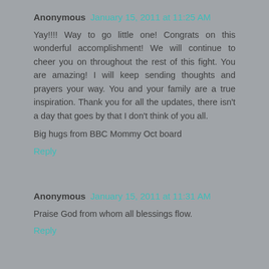Anonymous January 15, 2011 at 11:25 AM
Yay!!!! Way to go little one! Congrats on this wonderful accomplishment! We will continue to cheer you on throughout the rest of this fight. You are amazing! I will keep sending thoughts and prayers your way. You and your family are a true inspiration. Thank you for all the updates, there isn't a day that goes by that I don't think of you all.

Big hugs from BBC Mommy Oct board
Reply
Anonymous January 15, 2011 at 11:31 AM
Praise God from whom all blessings flow.
Reply
Anonymous January 15, 2011 at 11:31 AM
Wonderful news! Scarlet is a fighter and she has a great